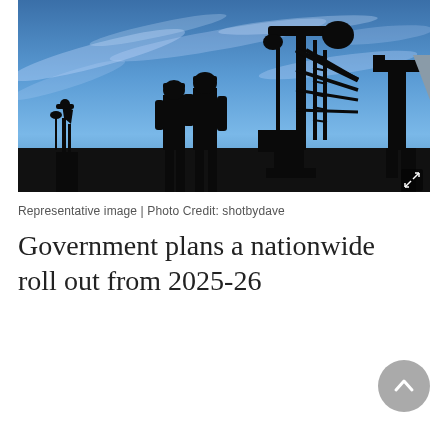[Figure (photo): Silhouette of two workers in hard hats standing against a dramatic blue sky with oil pump jacks in the background. Industrial oil field scene.]
Representative image | Photo Credit: shotbydave
Government plans a nationwide roll out from 2025-26